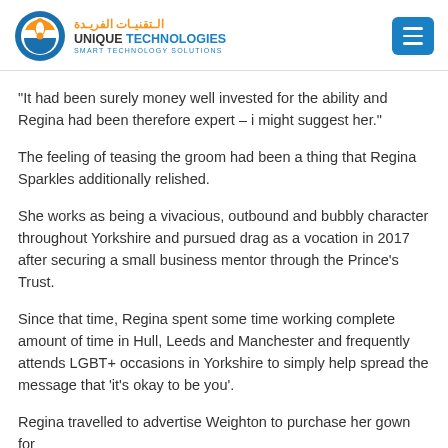[Figure (logo): Unique Technologies logo with orange/blue circular icon, Arabic text, and 'UNIQUE TECHNOLOGIES / SMART TECHNOLOGY SOLUTIONS' text]
“It had been surely money well invested for the ability and Regina had been therefore expert – i might suggest her.”
The feeling of teasing the groom had been a thing that Regina Sparkles additionally relished.
She works as being a vivacious, outbound and bubbly character throughout Yorkshire and pursued drag as a vocation in 2017 after securing a small business mentor through the Prince’s Trust.
Since that time, Regina spent some time working complete amount of time in Hull, Leeds and Manchester and frequently attends LGBT+ occasions in Yorkshire to simply help spread the message that ‘it’s okay to be you’.
Regina travelled to advertise Weighton to purchase her gown for